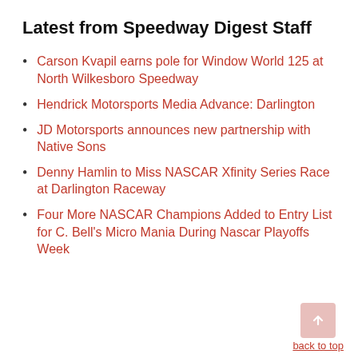Latest from Speedway Digest Staff
Carson Kvapil earns pole for Window World 125 at North Wilkesboro Speedway
Hendrick Motorsports Media Advance: Darlington
JD Motorsports announces new partnership with Native Sons
Denny Hamlin to Miss NASCAR Xfinity Series Race at Darlington Raceway
Four More NASCAR Champions Added to Entry List for C. Bell's Micro Mania During Nascar Playoffs Week
back to top